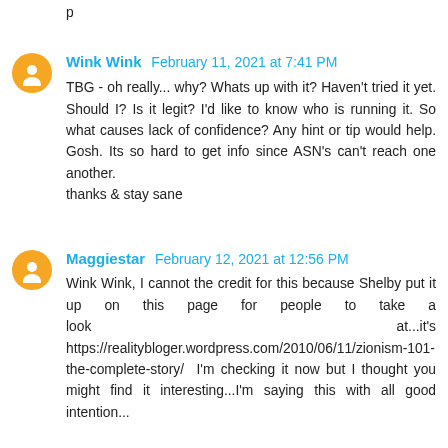p
Wink Wink  February 11, 2021 at 7:41 PM
TBG - oh really... why? Whats up with it? Haven't tried it yet. Should I? Is it legit? I'd like to know who is running it. So what causes lack of confidence? Any hint or tip would help. Gosh. Its so hard to get info since ASN's can't reach one another.
thanks & stay sane
Maggiestar  February 12, 2021 at 12:56 PM
Wink Wink, I cannot the credit for this because Shelby put it up on this page for people to take a look at...it's https://realitybloger.wordpress.com/2010/06/11/zionism-101-the-complete-story/ I'm checking it now but I thought you might find it interesting...I'm saying this with all good intention...